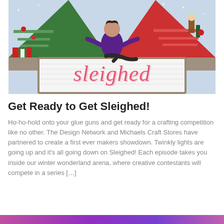[Figure (photo): TV show promotional image for 'Sleighed' showing a woman in a purple top posing on a set decorated with Christmas holiday decorations, shelving units shaped like a triangle/house, and a sign reading 'sleighed' in pink cursive script on a white illuminated panel.]
Get Ready to Get Sleighed!
Ho-ho-hold onto your glue guns and get ready for a crafting competition like no other. The Design Network and Michaels Craft Stores have partnered to create a first ever makers showdown. Twinkly lights are going up and it's all going down on Sleighed! Each episode takes you inside our winter wonderland arena, where creative contestants will compete in a series [...]